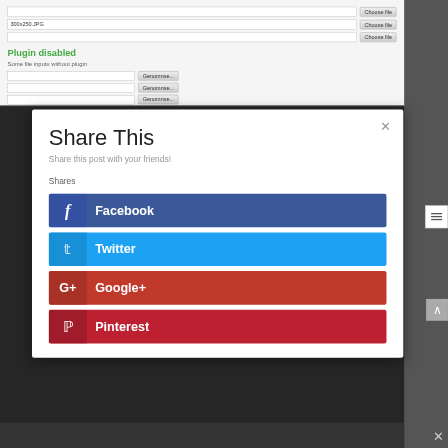[Figure (screenshot): Browser UI showing file upload inputs with Choose File buttons, Plugin disabled section with file inputs showing Genomnse... browse buttons]
Share This
Share this post with your friends!
Shares
Facebook
Twitter
Google+
Pinterest